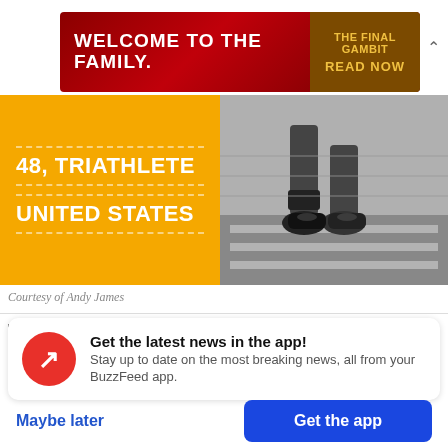[Figure (screenshot): Advertisement banner: red background with 'WELCOME TO THE FAMILY.' text on left and 'THE FINAL GAMBIT / READ NOW' in gold on dark brown right panel]
[Figure (photo): Black and white photo of a runner's legs on a road with orange overlay on left showing '48, TRIATHLETE' and 'UNITED STATES']
Courtesy of Andy James
The month of Ramadan is triathlete Khadijah Diggs' favorite time of the year. She says it is a
[Figure (infographic): BuzzFeed app notification card with red circular icon showing upward arrow, title 'Get the latest news in the app!', subtitle 'Stay up to date on the most breaking news, all from your BuzzFeed app.' with 'Maybe later' and 'Get the app' buttons]